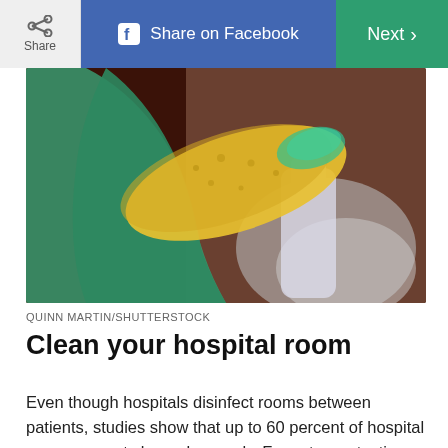Share | Share on Facebook | Next >
[Figure (photo): A hand wearing a green rubber glove holding a yellow sponge, cleaning a surface.]
QUINN MARTIN/SHUTTERSTOCK
Clean your hospital room
Even though hospitals disinfect rooms between patients, studies show that up to 60 percent of hospital rooms are not cleaned properly. For extra protection, ask a nurse for some bleach wipes or bring your own (bleach is necessary to kill C. diff). Wipe down the room or have a family member do it. Make sure you swipe in one direction only, and